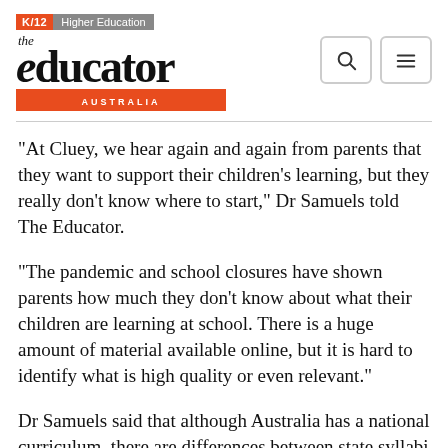K/12 | Higher Education — The Educator Australia
“At Cluey, we hear again and again from parents that they want to support their children’s learning, but they really don’t know where to start,” Dr Samuels told The Educator.
“The pandemic and school closures have shown parents how much they don’t know about what their children are learning at school. There is a huge amount of material available online, but it is hard to identify what is high quality or even relevant.”
Dr Samuels said that although Australia has a national curriculum, there are differences between state syllabi that can be difficult to navigate.